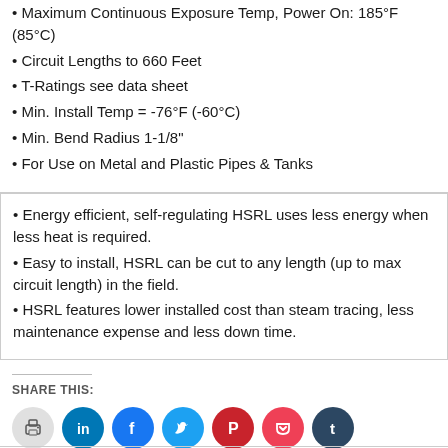Maximum Continuous Exposure Temp, Power On: 185°F (85°C)
Circuit Lengths to 660 Feet
T-Ratings see data sheet
Min. Install Temp = -76°F (-60°C)
Min. Bend Radius 1-1/8"
For Use on Metal and Plastic Pipes & Tanks
Energy efficient, self-regulating HSRL uses less energy when less heat is required.
Easy to install, HSRL can be cut to any length (up to max circuit length) in the field.
HSRL features lower installed cost than steam tracing, less maintenance expense and less down time.
SHARE THIS:
[Figure (infographic): Row of social sharing icon circles: print (gray), LinkedIn (blue), Facebook (blue), Twitter (light blue), Pinterest (red), Pocket (pink-red), Tumblr (dark navy)]